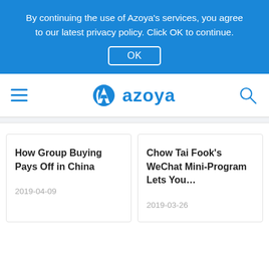By continuing the use of Azoya's services, you agree to our latest privacy policy. Click OK to continue.
OK
[Figure (logo): Azoya logo with hamburger menu and search icon in navigation bar]
How Group Buying Pays Off in China
2019-04-09
Chow Tai Fook's WeChat Mini-Program Lets You…
2019-03-26